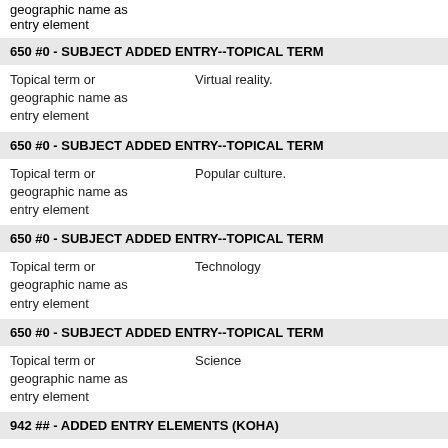geographic name as entry element
650 #0 - SUBJECT ADDED ENTRY--TOPICAL TERM
Topical term or geographic name as entry element    Virtual reality.
650 #0 - SUBJECT ADDED ENTRY--TOPICAL TERM
Topical term or geographic name as entry element    Popular culture.
650 #0 - SUBJECT ADDED ENTRY--TOPICAL TERM
Topical term or geographic name as entry element    Technology
650 #0 - SUBJECT ADDED ENTRY--TOPICAL TERM
Topical term or geographic name as entry element    Science
942 ## - ADDED ENTRY ELEMENTS (KOHA)
Source of classification or    Dewey Decimal Classification